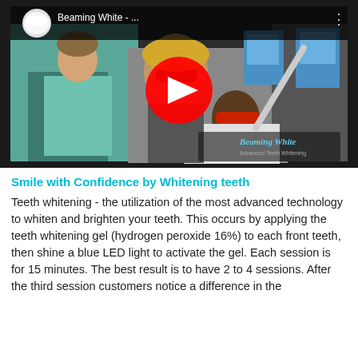[Figure (screenshot): YouTube video thumbnail showing a teeth whitening session. Title bar reads 'Beaming White - ...' with a circular thumbnail of a smiling mouth. The main image shows a dental professional in green scrubs standing next to a patient in a dental chair wearing red protective glasses. A YouTube play button (red circle with white triangle) is overlaid in the center. The Beaming White Advanced Teeth Whitening logo appears in the lower right corner.]
Smile with Confidence by Whitening teeth
Teeth whitening - the utilization of the most advanced technology to whiten and brighten your teeth. This occurs by applying the teeth whitening gel (hydrogen peroxide 16%) to each front teeth, then shine a blue LED light to activate the gel. Each session is for 15 minutes. The best result is to have 2 to 4 sessions. After the third session customers notice a difference in the whiteness of their teeth or get a refund.